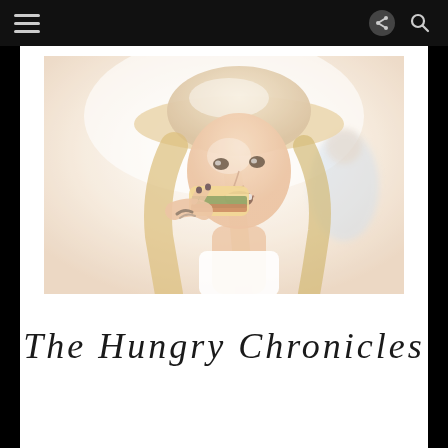The Hungry Chronicles — navigation bar
[Figure (photo): A young woman with long blonde hair wearing a wide-brimmed hat, eating a burger or food item outdoors. The photo is bright and overexposed with a light, airy feel. Other people are blurred in the background.]
The Hungry Chronicles